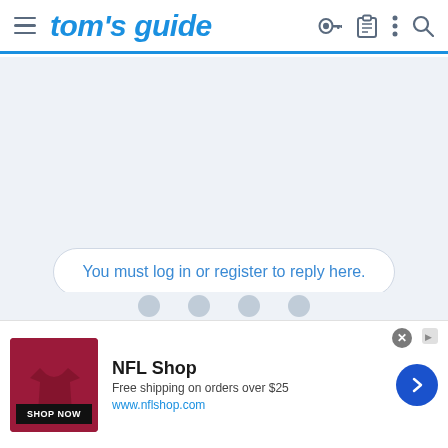tom's guide
You must log in or register to reply here.
[Figure (screenshot): Advertisement banner for NFL Shop showing a dark red jersey background with 'SHOP NOW' button, NFL Shop text, 'Free shipping on orders over $25', and www.nflshop.com URL, with a blue arrow navigation button on the right.]